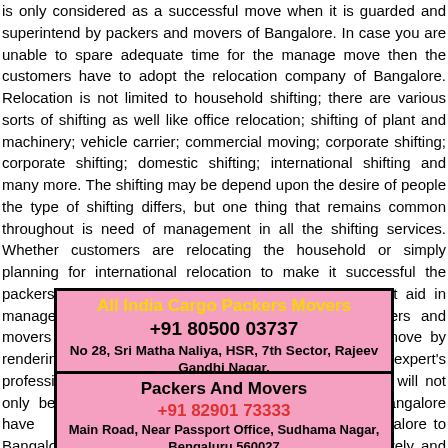is only considered as a successful move when it is guarded and superintend by packers and movers of Bangalore. In case you are unable to spare adequate time for the manage move then the customers have to adopt the relocation company of Bangalore. Relocation is not limited to household shifting; there are various sorts of shifting as well like office relocation; shifting of plant and machinery; vehicle carrier; commercial moving; corporate shifting; corporate shifting; domestic shifting; international shifting and many more. The shifting may be depend upon the desire of people the type of shifting differs, but one thing that remains common throughout is need of management in all the shifting services. Whether customers are relocating the household or simply planning for international relocation to make it successful the packers and movers assist the best services. The best aid in management in a move is Removal Company. Packers and movers of Bangalore indent for a safe and a secure move by rendering their shifting services. A move with expert's professionals of moving and shifting services Bangalore will not only be superintended but guarded and movers of Bangalore have moving from Bangalore to Bangalore these shifting services works effectively and efficiently as a move management company as uncomplicated as possible. Experience with us a cool, safe and hassle-
[Figure (infographic): All India Cargo Packers Movers contact box: phone +91 80500 03737, address No 28, Sri Matha Naliya, HSR, 7th Sector, Rajeev Gandhi Nagar, Bangalore 560068]
[Figure (infographic): Packers And Movers contact box: phone +91 82901 73333, address Main Road, Near Passport Office, Sudhama Nagar, Bengaluru 560027]